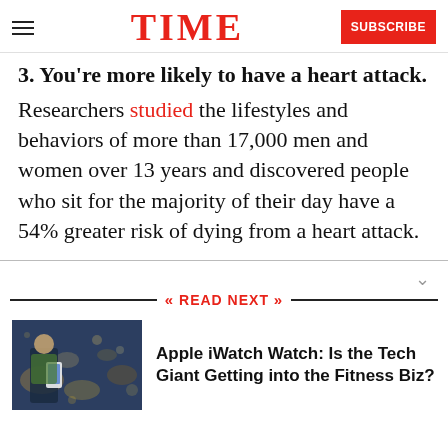TIME | SUBSCRIBE
3. You're more likely to have a heart attack.
Researchers studied the lifestyles and behaviors of more than 17,000 men and women over 13 years and discovered people who sit for the majority of their day have a 54% greater risk of dying from a heart attack.
READ NEXT
[Figure (photo): Thumbnail image showing a person with a smartphone at night]
Apple iWatch Watch: Is the Tech Giant Getting into the Fitness Biz?